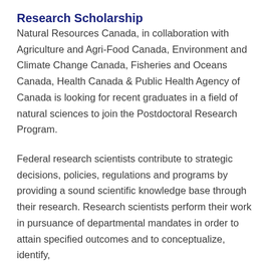Research Scholarship
Natural Resources Canada, in collaboration with Agriculture and Agri-Food Canada, Environment and Climate Change Canada, Fisheries and Oceans Canada, Health Canada & Public Health Agency of Canada is looking for recent graduates in a field of natural sciences to join the Postdoctoral Research Program.
Federal research scientists contribute to strategic decisions, policies, regulations and programs by providing a sound scientific knowledge base through their research. Research scientists perform their work in pursuance of departmental mandates in order to attain specified outcomes and to conceptualize, identify,